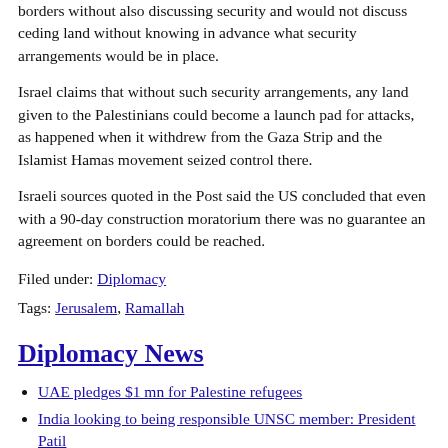borders without also discussing security and would not discuss ceding land without knowing in advance what security arrangements would be in place.
Israel claims that without such security arrangements, any land given to the Palestinians could become a launch pad for attacks, as happened when it withdrew from the Gaza Strip and the Islamist Hamas movement seized control there.
Israeli sources quoted in the Post said the US concluded that even with a 90-day construction moratorium there was no guarantee an agreement on borders could be reached.
Filed under: Diplomacy
Tags: Jerusalem, Ramallah
Diplomacy News
UAE pledges $1 mn for Palestine refugees
India looking to being responsible UNSC member: President Patil
Nobel to Chinese dissident: Indian envoy awaits Delhi orders